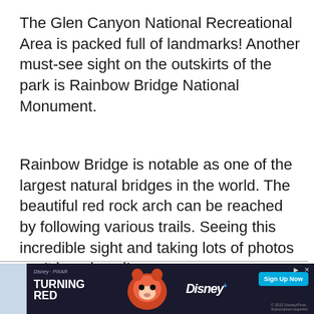The Glen Canyon National Recreational Area is packed full of landmarks! Another must-see sight on the outskirts of the park is Rainbow Bridge National Monument.
Rainbow Bridge is notable as one of the largest natural bridges in the world. The beautiful red rock arch can be reached by following various trails. Seeing this incredible sight and taking lots of photos can't be missed!
THING TO DO 14
[Figure (other): Advertisement banner for Disney/Pixar Turning Red featuring the movie title, a cartoon red panda character, the Disney+ logo, a Sign Up Now button, and copyright text.]